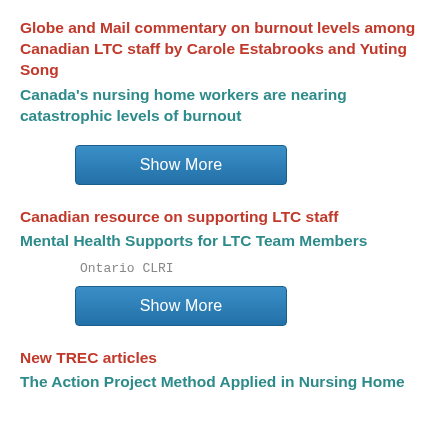Globe and Mail commentary on burnout levels among Canadian LTC staff by Carole Estabrooks and Yuting Song
Canada's nursing home workers are nearing catastrophic levels of burnout
[Figure (other): Show More button (blue)]
Canadian resource on supporting LTC staff
Mental Health Supports for LTC Team Members
Ontario CLRI
[Figure (other): Show More button (blue)]
New TREC articles
The Action Project Method Applied in Nursing Home